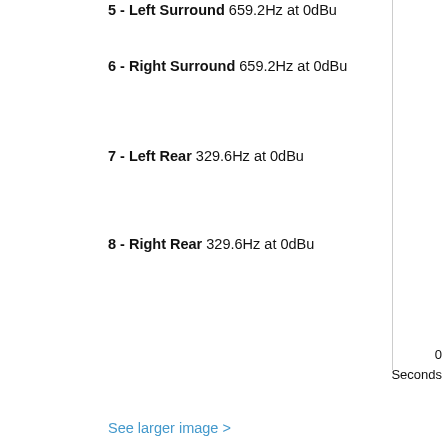5 - Left Surround 659.2Hz at 0dBu
6 - Right Surround 659.2Hz at 0dBu
7 - Left Rear 329.6Hz at 0dBu
8 - Right Rear 329.6Hz at 0dBu
0
Seconds
See larger image >
Phase Sequence
1 - Left 2kHz at -6dBu
2 - Right 2kHz at -6dBu
3 - Centre 2kHz at -6dBu
4 - LFE 2kHz at -6dBu
5 - Left Surround 2kHz at -6dBu